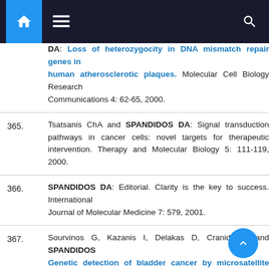Navigation bar with home, menu, and search icons
DA: Loss of heterozygocity in DNA mismatch repair genes in human atherosclerotic plaques. Molecular Cell Biology Research Communications 4: 62-65, 2000.
365. Tsatsanis ChA and SPANDIDOS DA: Signal transduction pathways in cancer cells: novel targets for therapeutic intervention. Therapy and Molecular Biology 5: 111-119, 2000.
366. SPANDIDOS DA: Editorial. Clarity is the key to success. International Journal of Molecular Medicine 7: 579, 2001.
367. Sourvinos G, Kazanis I, Delakas D, Cranidis A and SPANDIDOS: Genetic detection of bladder cancer by microsatellite analysis of p16, RB1 and p53 tumor suppressor genes. The Journal of Urology 165: 249-252, 2001.